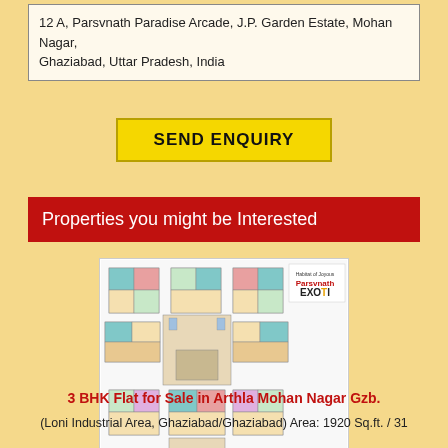12 A, Parsvnath Paradise Arcade, J.P. Garden Estate, Mohan Nagar, Ghaziabad, Uttar Pradesh, India
SEND ENQUIRY
Properties you might be Interested
[Figure (engineering-diagram): Floor plan of a residential apartment building showing multiple 3 BHK flat layouts, with color-coded rooms. Logo in top right reads 'Parsvnath Exotica'. Text at bottom reads type info and total saleable area.]
3 BHK Flat for Sale in Arthla Mohan Nagar Gzb.
(Loni Industrial Area, Ghaziabad/Ghaziabad) Area: 1920 Sq.ft. / 31